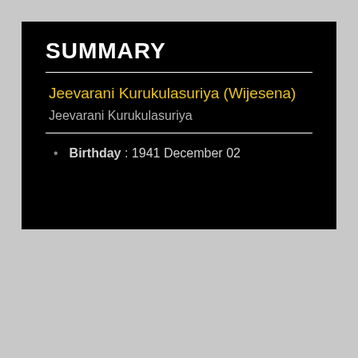SUMMARY
Jeevarani Kurukulasuriya (Wijesena)
Jeevarani Kurukulasuriya
Birthday : 1941 December 02